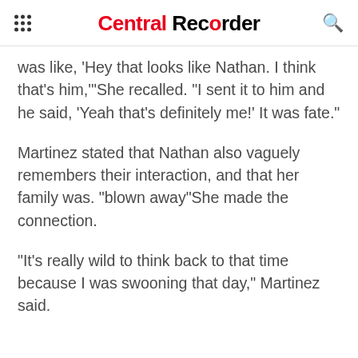Central Recorder
was like, 'Hey that looks like Nathan. I think that's him,'"She recalled. "I sent it to him and he said, 'Yeah that's definitely me!' It was fate."
Martinez stated that Nathan also vaguely remembers their interaction, and that her family was. "blown away"She made the connection.
"It's really wild to think back to that time because I was swooning that day," Martinez said.